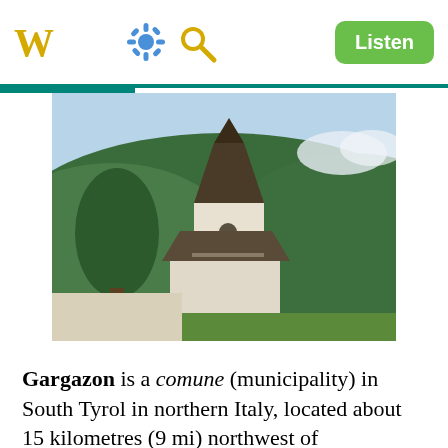W  [settings icon] [search icon]  Listen
[Figure (photo): Church bell tower with pointed dark roof in front of green mountain and blue sky, South Tyrol, Italy]
Gargazon is a comune (municipality) in South Tyrol in northern Italy, located about 15 kilometres (9 mi) northwest of
[Figure (photo): Aerial/panoramic view of Gargazon village with agricultural fields and mountains in background, South Tyrol, Italy]